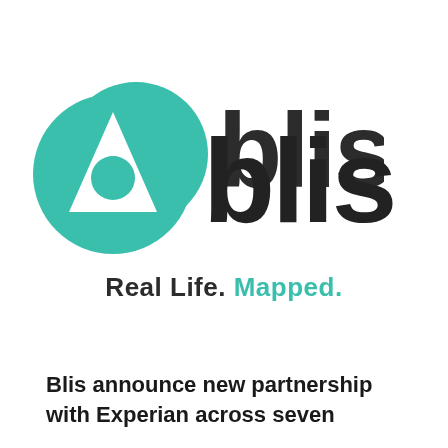[Figure (logo): Blis logo: teal circle with white triangle/location-pin icon, followed by bold dark text 'blis'. Tagline below: 'Real Life. Mapped.' in bold, with 'Mapped.' in teal.]
Blis announce new partnership with Experian across seven